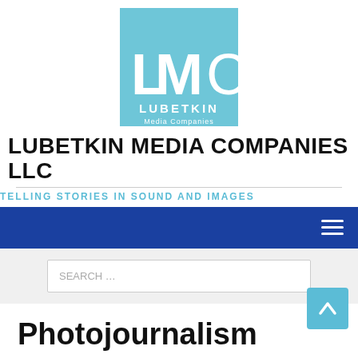[Figure (logo): LMC Lubetkin Media Companies logo — light blue square with LMC letters and company name below]
LUBETKIN MEDIA COMPANIES LLC
TELLING STORIES IN SOUND AND IMAGES
[Figure (screenshot): Blue navigation bar with hamburger menu icon on the right]
[Figure (screenshot): Search bar with placeholder text SEARCH ...]
Photojournalism
Photographic assignments we've completed for clients or for our house account